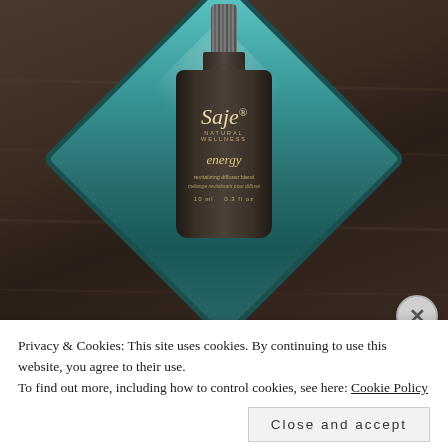[Figure (photo): Photo of a Saje Natural Wellness 'energy' revitalizing diffuser blend bottle (10 ml / 0.3 fl oz) in a dark brown frosted glass bottle with a ribbed dropper cap, sitting on a teal/turquoise glazed ceramic diamond-shaped tray on a dark wood surface.]
Privacy & Cookies: This site uses cookies. By continuing to use this website, you agree to their use.
To find out more, including how to control cookies, see here: Cookie Policy
Close and accept